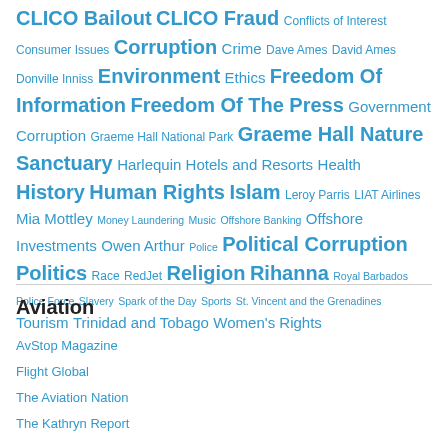CLICO Bailout CLICO Fraud Conflicts of Interest Consumer Issues Corruption Crime Dave Ames David Ames Donville Inniss Environment Ethics Freedom Of Information Freedom Of The Press Government Corruption Graeme Hall National Park Graeme Hall Nature Sanctuary Harlequin Hotels and Resorts Health History Human Rights Islam Leroy Parris LIAT Airlines Mia Mottley Money Laundering Music Offshore Banking Offshore Investments Owen Arthur Police Political Corruption Politics Race RedJet Religion Rihanna Royal Barbados Police Force Slavery Spark of the Day Sports St. Vincent and the Grenadines Tourism Trinidad and Tobago Women's Rights
Aviation
AvStop Magazine
Flight Global
The Aviation Nation
The Kathryn Report